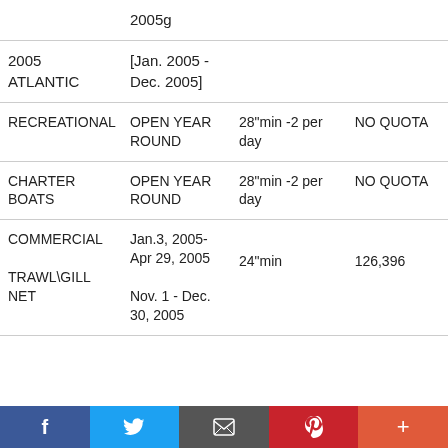|  |  |  |  |
| --- | --- | --- | --- |
|  | 2005g |  |  |
| 2005 ATLANTIC | [Jan. 2005 - Dec. 2005] |  |  |
| RECREATIONAL | OPEN YEAR ROUND | 28"min -2 per day | NO QUOTA |
| CHARTER BOATS | OPEN YEAR ROUND | 28"min -2 per day | NO QUOTA |
| COMMERCIAL TRAWL\GILL NET | Jan.3, 2005- Apr 29, 2005
Nov. 1 - Dec. 30, 2005 | 24"min | 126,396 |
f  Twitter  [email icon]  p  +